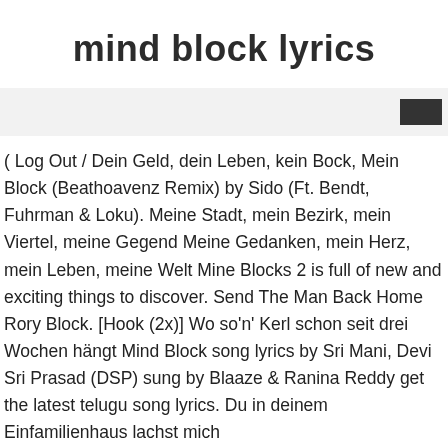mind block lyrics
[Figure (other): Gray bar with a dark rectangular button/icon on the right side]
( Log Out /  Dein Geld, dein Leben, kein Bock, Mein Block (Beathoavenz Remix) by Sido (Ft. Bendt, Fuhrman & Loku). Meine Stadt, mein Bezirk, mein Viertel, meine Gegend Meine Gedanken, mein Herz, mein Leben, meine Welt Mine Blocks 2 is full of new and exciting things to discover. Send The Man Back Home Rory Block. [Hook (2x)] Wo so'n' Kerl schon seit drei Wochen hängt Mind Block song lyrics by Sri Mani, Devi Sri Prasad (DSP) sung by Blaaze & Ranina Reddy get the latest telugu song lyrics. Du in deinem Einfamilienhaus lachst mich